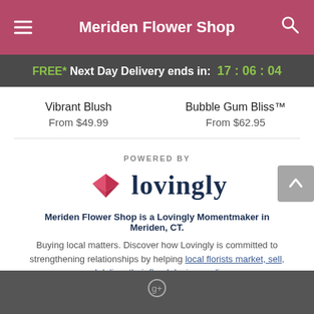Meriden Flower Shop
FREE* Next Day Delivery ends in: 17:06:04
Vibrant Blush
From $49.99
Bubble Gum Bliss™
From $62.95
[Figure (logo): Lovingly logo with pink/red origami heart icon and the word 'lovingly' in dark navy serif font, above text POWERED BY]
Meriden Flower Shop is a Lovingly Momentmaker in Meriden, CT.
Buying local matters. Discover how Lovingly is committed to strengthening relationships by helping local florists market, sell, and deliver their floral designs online.
Google+ icon in dark footer